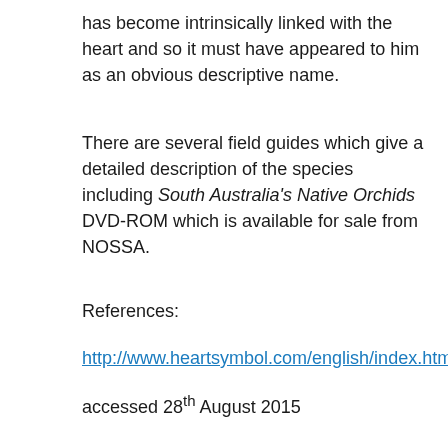has become intrinsically linked with the heart and so it must have appeared to him as an obvious descriptive name.
There are several field guides which give a detailed description of the species including South Australia's Native Orchids DVD-ROM which is available for sale from NOSSA.
References:
http://www.heartsymbol.com/english/index.html
accessed 28th August 2015